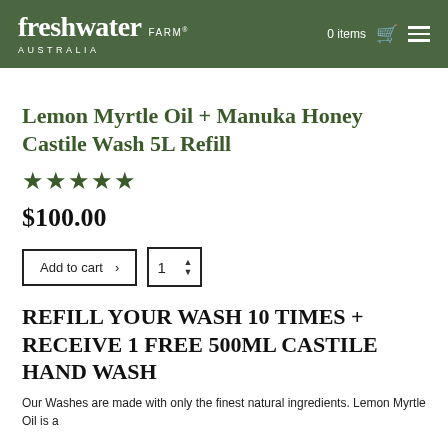freshwater FARM® AUSTRALIA | 0 items
Lemon Myrtle Oil + Manuka Honey Castile Wash 5L Refill
★★★★★
$100.00
Add to cart >  1
REFILL YOUR WASH 10 TIMES + RECEIVE 1 FREE 500ML CASTILE HAND WASH
Our Washes are made with only the finest natural ingredients. Lemon Myrtle Oil is a